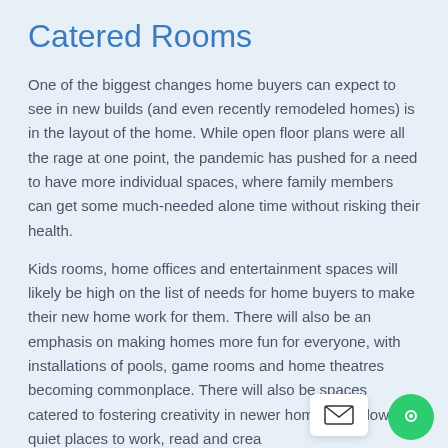Catered Rooms
One of the biggest changes home buyers can expect to see in new builds (and even recently remodeled homes) is in the layout of the home. While open floor plans were all the rage at one point, the pandemic has pushed for a need to have more individual spaces, where family members can get some much-needed alone time without risking their health.
Kids rooms, home offices and entertainment spaces will likely be high on the list of needs for home buyers to make their new home work for them. There will also be an emphasis on making homes more fun for everyone, with installations of pools, game rooms and home theatres becoming commonplace. There will also be spaces catered to fostering creativity in newer homes, to allow for quiet places to work, read and create.
Outdoor spaces are another big shift expected in hos